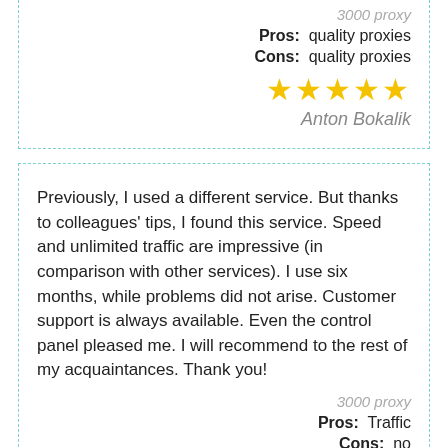3000 proxy
Pros: quality proxies
Cons: quality proxies
[Figure (other): 5 gold stars rating]
Anton Bokalik
Previously, I used a different service. But thanks to colleagues' tips, I found this service. Speed and unlimited traffic are impressive (in comparison with other services). I use six months, while problems did not arise. Customer support is always available. Even the control panel pleased me. I will recommend to the rest of my acquaintances. Thank you!
3000 proxy
Pros: Traffic
Cons: no